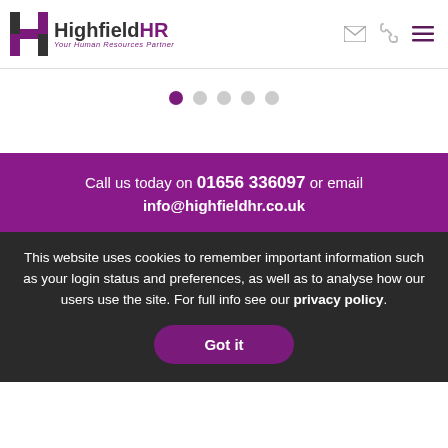[Figure (logo): HighfieldHR logo with stylized H icon and tagline 'Your Human Resources Partner']
[Figure (infographic): Carousel navigation dots: 5 dots, first one active in purple, rest grey]
Call us today on 01656 336097 or email info@highfieldhr.co.uk
This website uses cookies to remember important information such as your login status and preferences, as well as to analyse how our users use the site. For full info see our privacy policy.
Got it